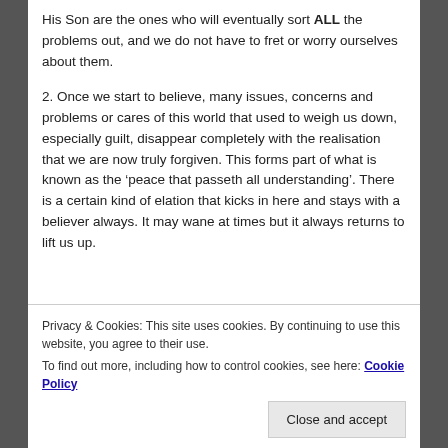His Son are the ones who will eventually sort ALL the problems out, and we do not have to fret or worry ourselves about them.
2. Once we start to believe, many issues, concerns and problems or cares of this world that used to weigh us down, especially guilt, disappear completely with the realisation that we are now truly forgiven. This forms part of what is known as the ‘peace that passeth all understanding’. There is a certain kind of elation that kicks in here and stays with a believer always. It may wane at times but it always returns to lift us up.
[Figure (illustration): Blue gradient decorative image strip, partially visible at the bottom of the main content area.]
Privacy & Cookies: This site uses cookies. By continuing to use this website, you agree to their use.
To find out more, including how to control cookies, see here: Cookie Policy